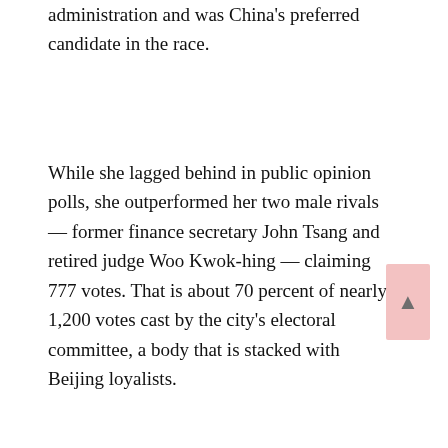administration and was China's preferred candidate in the race.
While she lagged behind in public opinion polls, she outperformed her two male rivals — former finance secretary John Tsang and retired judge Woo Kwok-hing — claiming 777 votes. That is about 70 percent of nearly 1,200 votes cast by the city's electoral committee, a body that is stacked with Beijing loyalists.